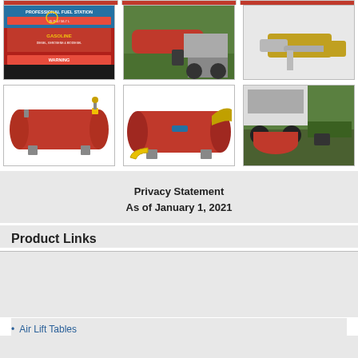[Figure (photo): Top row: three product/scene photos partially visible at top edge (red tones)]
[Figure (photo): Professional Fuel Station product label - red and blue background with text]
[Figure (photo): Outdoor scene with red fuel tank near truck, person working]
[Figure (photo): Fuel nozzle on white/gray background]
[Figure (photo): Red cylindrical fuel tank standalone on white background]
[Figure (photo): Red cylindrical tank with yellow hose attached]
[Figure (photo): Person loading red tank onto truck trailer]
Privacy Statement
As of January 1, 2021
Product Links
Air Lift Tables